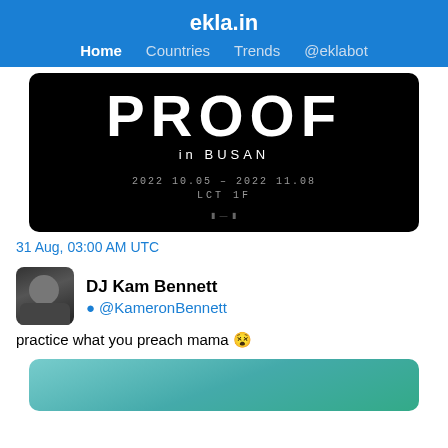ekla.in
Home  Countries  Trends  @eklabot
[Figure (photo): Black background image showing 'PROOF in BUSAN' event poster with white bold text 'PROOF', subtitle 'in BUSAN', dates '2022 10.05 - 2022 11.08', location 'LCT 1F', and sponsor logos at the bottom.]
31 Aug, 03:00 AM UTC
DJ Kam Bennett
@KameronBennett
practice what you preach mama 😵
[Figure (photo): Partial image at bottom, appears to be a blurry photo with teal/green tones, only top portion visible.]